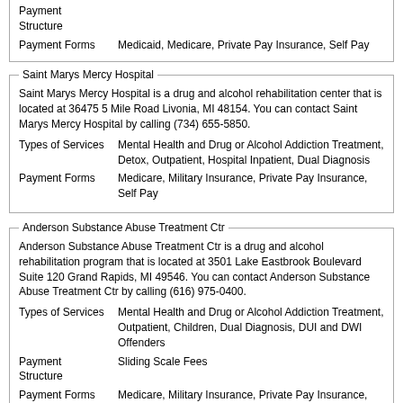Payment Structure
Payment Forms    Medicaid, Medicare, Private Pay Insurance, Self Pay
Saint Marys Mercy Hospital
Saint Marys Mercy Hospital is a drug and alcohol rehabilitation center that is located at 36475 5 Mile Road Livonia, MI 48154. You can contact Saint Marys Mercy Hospital by calling (734) 655-5850.
Types of Services    Mental Health and Drug or Alcohol Addiction Treatment, Detox, Outpatient, Hospital Inpatient, Dual Diagnosis
Payment Forms    Medicare, Military Insurance, Private Pay Insurance, Self Pay
Anderson Substance Abuse Treatment Ctr
Anderson Substance Abuse Treatment Ctr is a drug and alcohol rehabilitation program that is located at 3501 Lake Eastbrook Boulevard Suite 120 Grand Rapids, MI 49546. You can contact Anderson Substance Abuse Treatment Ctr by calling (616) 975-0400.
Types of Services    Mental Health and Drug or Alcohol Addiction Treatment, Outpatient, Children, Dual Diagnosis, DUI and DWI Offenders
Payment Structure    Sliding Scale Fees
Payment Forms    Medicare, Military Insurance, Private Pay Insurance, Self Pay